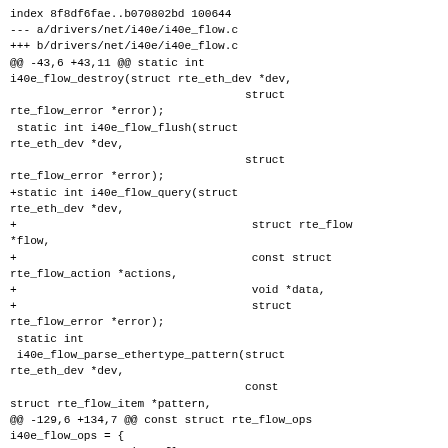index 8f8df6fae..b070802bd 100644
--- a/drivers/net/i40e/i40e_flow.c
+++ b/drivers/net/i40e/i40e_flow.c
@@ -43,6 +43,11 @@ static int i40e_flow_destroy(struct rte_eth_dev *dev,
                                    struct rte_flow_error *error);
 static int i40e_flow_flush(struct rte_eth_dev *dev,
                                    struct rte_flow_error *error);
+static int i40e_flow_query(struct rte_eth_dev *dev,
+                                   struct rte_flow *flow,
+                                   const struct rte_flow_action *actions,
+                                   void *data,
+                                   struct rte_flow_error *error);
 static int
 i40e_flow_parse_ethertype_pattern(struct rte_eth_dev *dev,
                                    const struct rte_flow_item *pattern,
@@ -129,6 +134,7 @@ const struct rte_flow_ops i40e_flow_ops = {
        .create = i40e_flow_create,
        .destroy = i40e_flow_destroy,
        .flush = i40e_flow_flush,